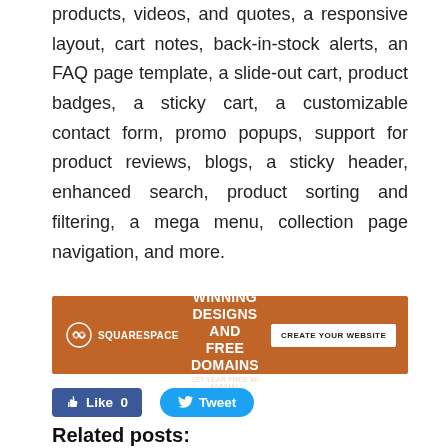products, videos, and quotes, a responsive layout, cart notes, back-in-stock alerts, an FAQ page template, a slide-out cart, product badges, a sticky cart, a customizable contact form, promo popups, support for product reviews, blogs, a sticky header, enhanced search, product sorting and filtering, a mega menu, collection page navigation, and more.
Learn More
[Figure (other): Squarespace advertisement banner: orange background with Squarespace logo on left, 'AWARD-WINNING DESIGNS AND FREE DOMAINS' headline in center, '1ST YEAR FREE W/ ANNUAL PURCHASE' subline, and 'CREATE YOUR WEBSITE' button on right.]
Like 0   Tweet
Related posts: